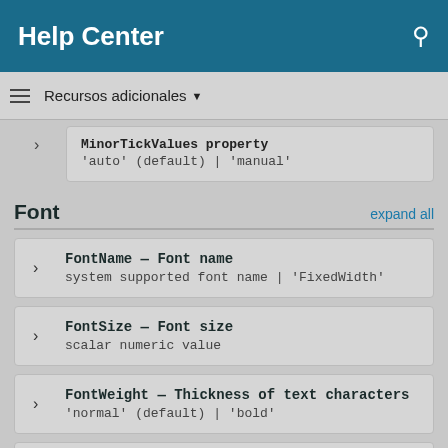Help Center
Recursos adicionales ▼
MinorTickValues property
'auto' (default) | 'manual'
Font
expand all
FontName — Font name
system supported font name | 'FixedWidth'
FontSize — Font size
scalar numeric value
FontWeight — Thickness of text characters
'normal' (default) | 'bold'
FontAngle — Text character slant